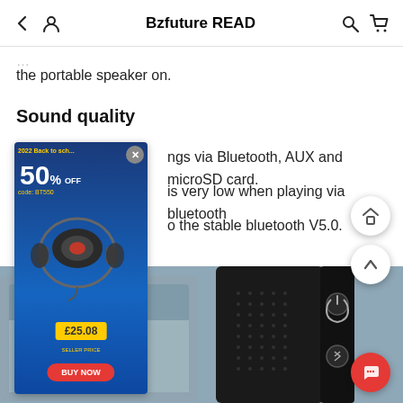Bzfuture READ
the portable speaker on.
Sound quality
ngs via Bluetooth, AUX and microSD card. is very low when playing via bluetooth o the stable bluetooth V5.0.
[Figure (photo): Advertisement banner showing headphones with 50% off, code BT550, price £25.08, BUY NOW button on blue background]
[Figure (photo): Bottom portion of a black portable speaker on a blurred background]
[Figure (infographic): Floating navigation buttons: home, up arrow, and red chat/message button]